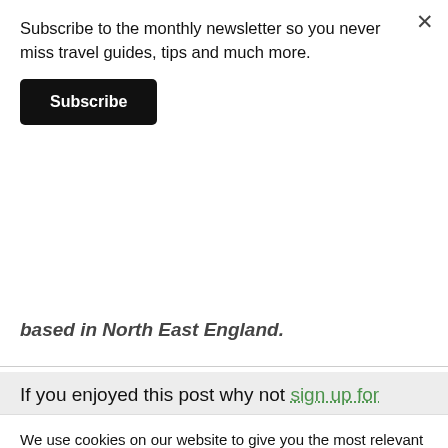Subscribe to the monthly newsletter so you never miss travel guides, tips and much more.
Subscribe
based in North East England.
If you enjoyed this post why not sign up for
We use cookies on our website to give you the most relevant experience by remembering your preferences and repeat visits. By clicking "Accept All", you consent to the use of ALL the cookies. However, you may visit "Cookie Settings" to provide a controlled consent.
Cookie Settings
Accept All